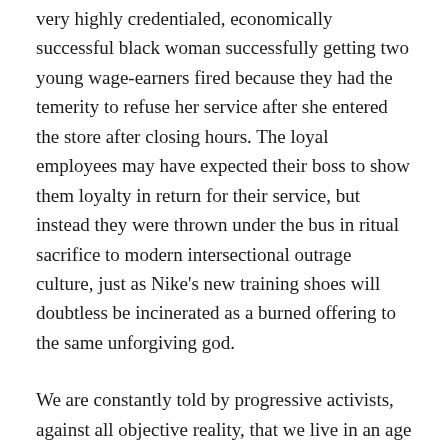very highly credentialed, economically successful black woman successfully getting two young wage-earners fired because they had the temerity to refuse her service after she entered the store after closing hours. The loyal employees may have expected their boss to show them loyalty in return for their service, but instead they were thrown under the bus in ritual sacrifice to modern intersectional outrage culture, just as Nike's new training shoes will doubtless be incinerated as a burned offering to the same unforgiving god.
We are constantly told by progressive activists, against all objective reality, that we live in an age of unprecedented oppression, with ancient and universal rights being swept away before our very eyes. Never mind the fact that President Obama took office still officially believing that gay marriage should not be permitted, and that America